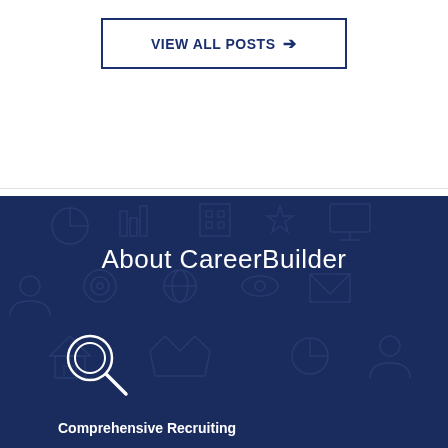VIEW ALL POSTS →
About CareerBuilder
[Figure (illustration): Magnifying glass icon in white outline on dark navy background]
Comprehensive Recruiting